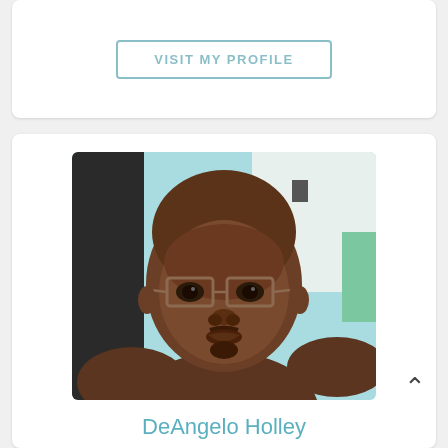[Figure (other): Visit My Profile button (teal-outlined button with text)]
[Figure (photo): Profile photo of DeAngelo Holley: a young Black man wearing rectangular glasses, shirtless, taking a selfie with a teal/light blue background]
DeAngelo Holley